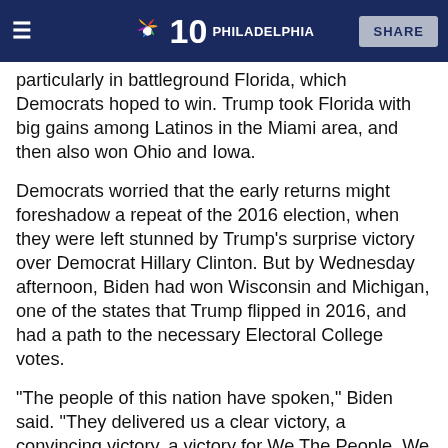NBC 10 PHILADELPHIA | SHARE
particularly in battleground Florida, which Democrats hoped to win. Trump took Florida with big gains among Latinos in the Miami area, and then also won Ohio and Iowa.
Democrats worried that the early returns might foreshadow a repeat of the 2016 election, when they were left stunned by Trump's surprise victory over Democrat Hillary Clinton. But by Wednesday afternoon, Biden had won Wisconsin and Michigan, one of the states that Trump flipped in 2016, and had a path to the necessary Electoral College votes.
"The people of this nation have spoken," Biden said. "They delivered us a clear victory, a convincing victory, a victory for We The People. We won with the most votes ever cast in a presidential ticket in the history of the nation, 74 million.